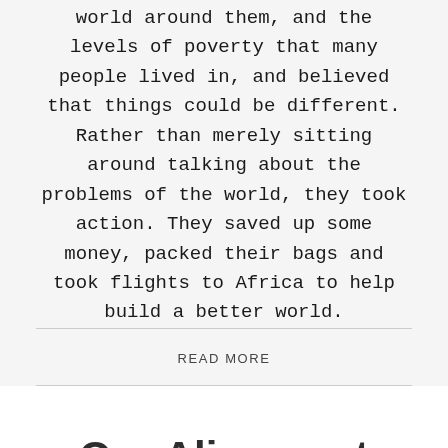world around them, and the levels of poverty that many people lived in, and believed that things could be different. Rather than merely sitting around talking about the problems of the world, they took action. They saved up some money, packed their bags and took flights to Africa to help build a better world.
READ MORE
Our Alignment with the UN SDGs